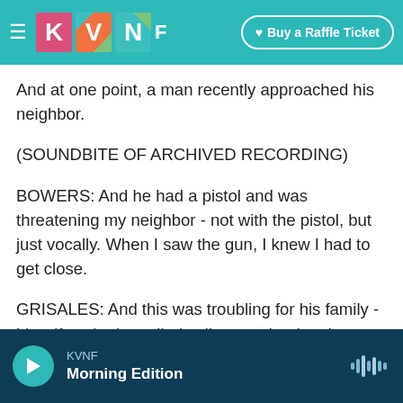[Figure (screenshot): KVNF radio website navigation bar with teal background, hamburger menu icon, KVNF colorful logo, and 'Buy a Raffle Ticket' button]
And at one point, a man recently approached his neighbor.
(SOUNDBITE OF ARCHIVED RECORDING)
BOWERS: And he had a pistol and was threatening my neighbor - not with the pistol, but just vocally. When I saw the gun, I knew I had to get close.
GRISALES: And this was troubling for his family - his wife, who he called valiant, and a daughter who was gravely ill. Bowers had said Trump asked him to hold a hearing to investigate allegations of fraud
KVNF Morning Edition